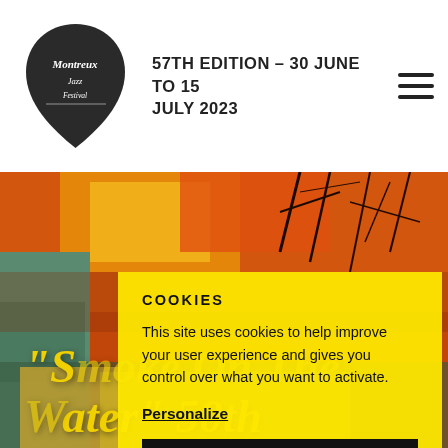[Figure (logo): Montreux Jazz Festival logo — dark shield/pick shape with handwritten 'Montreux Jazz Festival' text in white]
57TH EDITION – 30 JUNE TO 15 JULY 2023
[Figure (photo): Hero background photo showing orange/red flames and branches with colorful mural elements and figure in lower portion]
COOKIES
This site uses cookies to help improve your user experience and gives you control over what you want to activate.
Personalize
OK, ACCEPT ALL
"Smoke On The Water" 50th